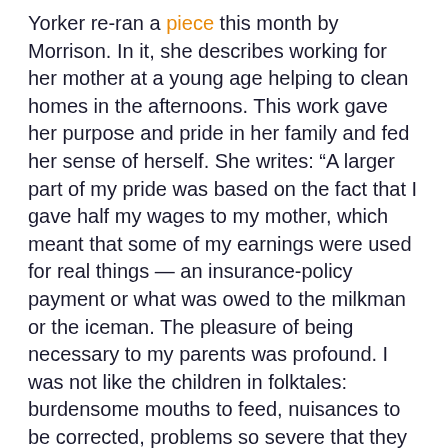Yorker re-ran a piece this month by Morrison. In it, she describes working for her mother at a young age helping to clean homes in the afternoons. This work gave her purpose and pride in her family and fed her sense of herself. She writes: “A larger part of my pride was based on the fact that I gave half my wages to my mother, which meant that some of my earnings were used for real things — an insurance-policy payment or what was owed to the milkman or the iceman. The pleasure of being necessary to my parents was profound. I was not like the children in folktales: burdensome mouths to feed, nuisances to be corrected, problems so severe that they were abandoned to the forest. I had a status that doing routine chores in my house did not provide — and it earned me a slow smile, an approving nod from an adult. Confirmations that I was adultlike, not childlike.”
Her story reminds me of another book, The Good News about Bad Behavior by Katherine Lewis. Both her book and Morrison’s description of work for her family highlight the